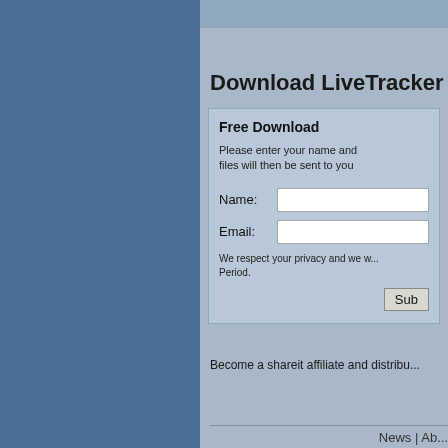Download LiveTracker
Free Download
Please enter your name and email address. The download files will then be sent to you via email.
Name:
Email:
We respect your privacy and we will never spam you. Period.
Become a shareit affiliate and distribu...
News | Ab...